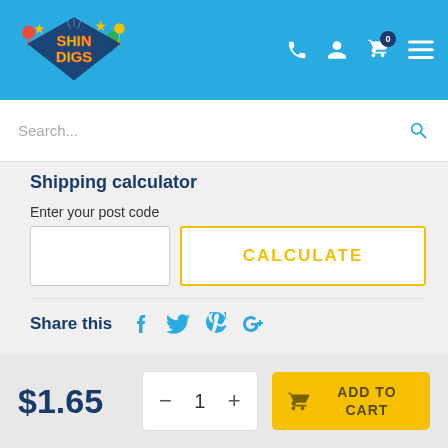[Figure (logo): Shindigs party supplies logo with colorful balloons and stars on a blue header background]
Search...
Shipping calculator
Enter your post code
CALCULATE
Share this
$1.65
− 1 + ADD TO CART